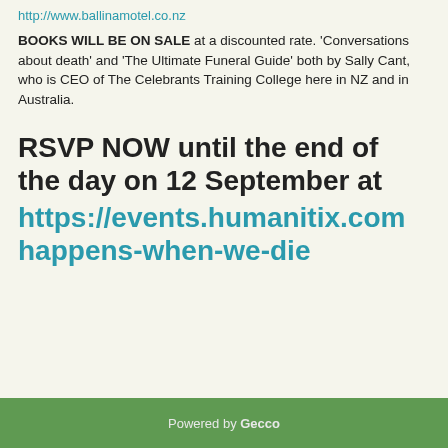http://www.ballinamotel.co.nz
BOOKS WILL BE ON SALE at a discounted rate. 'Conversations about death' and 'The Ultimate Funeral Guide' both by Sally Cant, who is CEO of The Celebrants Training College here in NZ and in Australia.
RSVP NOW until the end of the day on 12 September at https://events.humanitix.com happens-when-we-die
Powered by Gecco